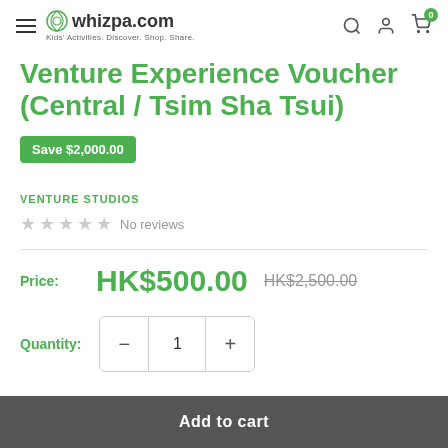whizpa.com — Kids' Activities. Discover. Shop. Share.
Venture Experience Voucher (Central / Tsim Sha Tsui)
Save $2,000.00
VENTURE STUDIOS
No reviews
Price: HK$500.00 HK$2,500.00
Quantity: 1
Add to cart